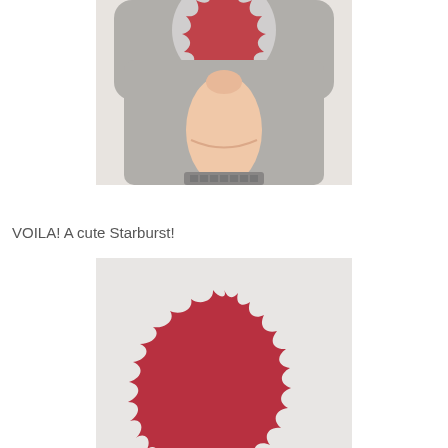[Figure (photo): A hand pressing down on a gray craft punch device with a red starburst-shaped paper piece visible at the top of the punch opening.]
VOILA!  A cute Starburst!
[Figure (photo): A red starburst-shaped paper cutout lying flat on a light gray background, showing the result of using the craft punch.]